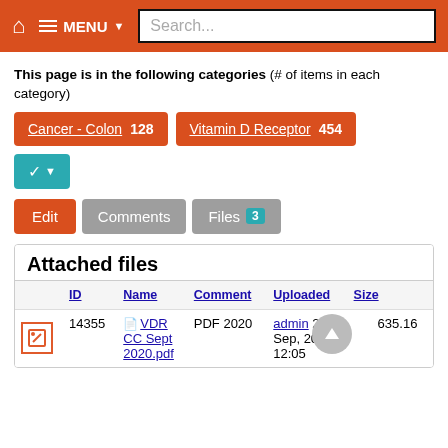Home | MENU | Search...
This page is in the following categories (# of items in each category)
Cancer - Colon  128
Vitamin D Receptor  454
Edit  Comments  Files 3
Attached files
|  | ID | Name | Comment | Uploaded | Size |
| --- | --- | --- | --- | --- | --- |
| [icon] | 14355 | VDR CC Sept 2020.pdf | PDF 2020 | admin 22 Sep, 2020 12:05 | 635.16 |